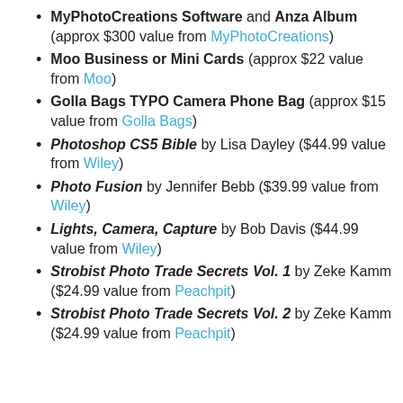MyPhotoCreations Software and Anza Album (approx $300 value from MyPhotoCreations)
Moo Business or Mini Cards (approx $22 value from Moo)
Golla Bags TYPO Camera Phone Bag (approx $15 value from Golla Bags)
Photoshop CS5 Bible by Lisa Dayley ($44.99 value from Wiley)
Photo Fusion by Jennifer Bebb ($39.99 value from Wiley)
Lights, Camera, Capture by Bob Davis ($44.99 value from Wiley)
Strobist Photo Trade Secrets Vol. 1 by Zeke Kamm ($24.99 value from Peachpit)
Strobist Photo Trade Secrets Vol. 2 by Zeke Kamm ($24.99 value from Peachpit)